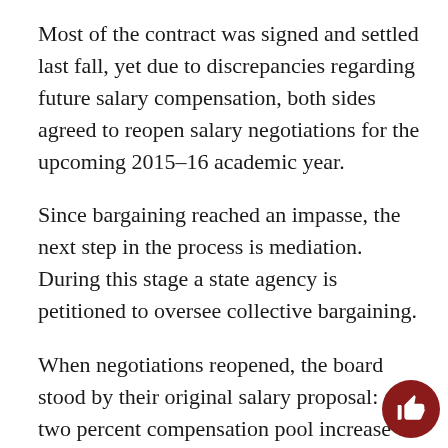Most of the contract was signed and settled last fall, yet due to discrepancies regarding future salary compensation, both sides agreed to reopen salary negotiations for the upcoming 2015–16 academic year.
Since bargaining reached an impasse, the next step in the process is mediation. During this stage a state agency is petitioned to oversee collective bargaining.
When negotiations reopened, the board stood by their original salary proposal: a two percent compensation pool increase for 2015–16 and 2016–17 academic years, which the CFA had already rejected last fall.
This year, the CFA is requesting a general five percent salary increase for all faculty and a service salary increase (SSI) for eligible faculty.